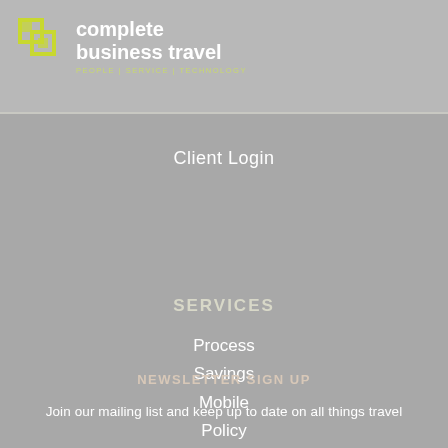[Figure (logo): Complete Business Travel logo with icon and tagline 'PEOPLE | SERVICE | TECHNOLOGY']
Client Login
SERVICES
Process
Savings
Mobile
Policy
CBT Leisure
NEWSLETTER SIGN UP
Join our mailing list and keep up to date on all things travel